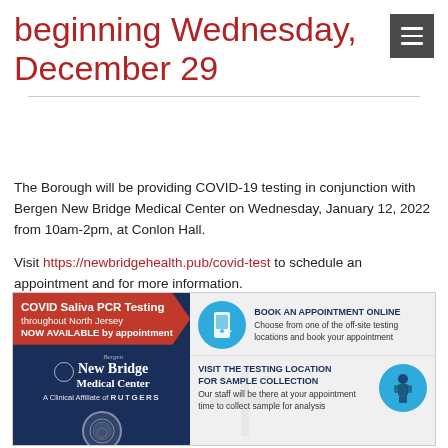beginning Wednesday, December 29
The Borough will be providing COVID-19 testing in conjunction with Bergen New Bridge Medical Center on Wednesday, January 12, 2022 from 10am-2pm, at Conlon Hall.
Visit https://newbridgehealth.pub/covid-test to schedule an appointment and for more information.
[Figure (infographic): Bergen New Bridge Medical Center COVID Saliva PCR Testing infographic. Left panel: red banner with 'COVID Saliva PCR Testing throughout North Jersey NOW AVAILABLE by appointment' on dark blue background with New Bridge Medical Center logo and A Clinical Affiliate of RUTGERS text and seal. Right panel: 'BOOK AN APPOINTMENT ONLINE - Choose from one of the off-site testing locations and book your appointment' with phone icon in blue circle; 'VISIT THE TESTING LOCATION FOR SAMPLE COLLECTION - Our staff will be there at your appointment time to collect sample for analysis' with nurse figure in blue circle.]